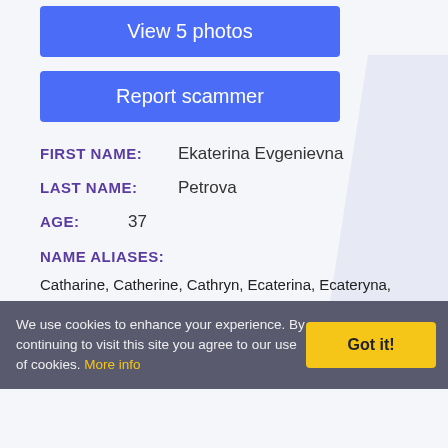View 5 photos
Report scammer
FIRST NAME: Ekaterina Evgenievna
LAST NAME: Petrova
AGE: 37
NAME ALIASES:
Catharine, Catherine, Cathryn, Ecaterina, Ecateryna, Ekatarina, Ekaterinacka, Ekaterinchika, Ekaterinka, Ekaterinochka, Ekaterinok, Ekaterinoka, Ekaterinulka, Ekaterinusechka, Ekaterinusenka, Ekaterinusha, Ekaterinusik, Ekaterinusu, Ekatrina, Kat, Katarina, Kate
We use cookies to enhance your experience. By continuing to visit this site you agree to our use of cookies. More info